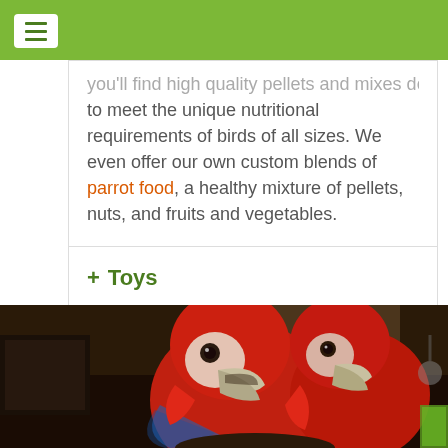you'll find high quality pellets and mixes designed to meet the unique nutritional requirements of birds of all sizes. We even offer our own custom blends of parrot food, a healthy mixture of pellets, nuts, and fruits and vegetables.
+ Toys
+ Accessories
[Figure (photo): Two scarlet macaw parrots with bright red, blue and green feathers nuzzling each other indoors]